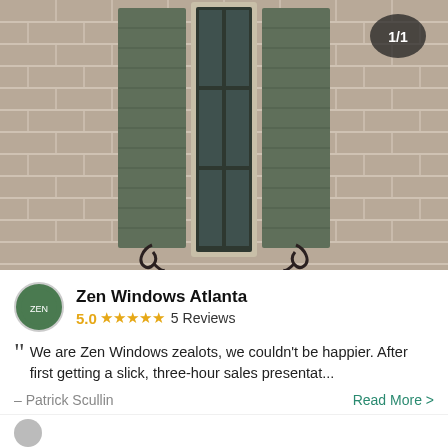[Figure (photo): Photo of a house window with olive/gray shutters on a brick wall. The window has a cream-colored frame with dark panes arranged in a 2x3 grid. Decorative iron scroll brackets hold the shutters. A badge in the top-right corner reads '1/1'.]
Zen Windows Atlanta
5.0 ★★★★★ 5 Reviews
We are Zen Windows zealots, we couldn't be happier. After first getting a slick, three-hour sales presentat...
– Patrick Scullin
Read More >